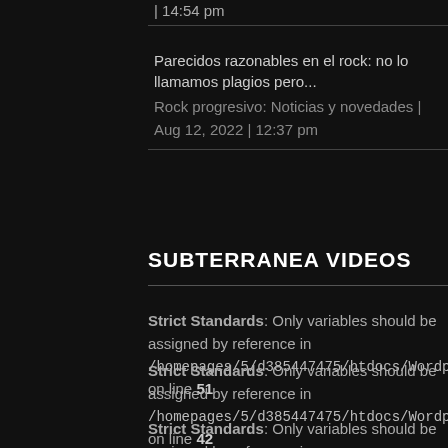| 14:54 pm
Parecidos razonables en el rock: no lo llamamos plagios pero...
Rock progresivo: Noticias y novedades | Aug 12, 2022 | 12:37 pm
SUBTERRANEA VIDEOS
Strict Standards: Only variables should be assigned by reference in /homepages/5/d385447475/htdocs/Wordpress_page/plugins/syste on line 51
Strict Standards: Only variables should be assigned by reference in /homepages/5/d385447475/htdocs/Wordpress_page/plugins/conte on line 42
Strict Standards: Only variables should be assigned by reference in